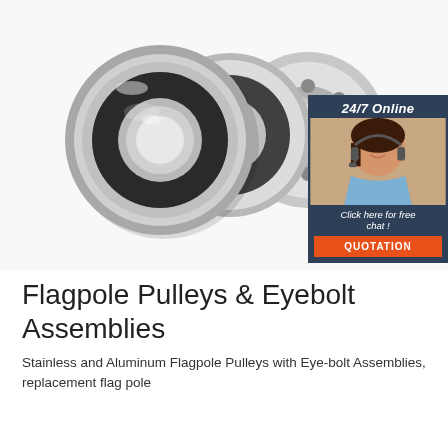[Figure (photo): Three stainless steel ball bearings (two with black rubber seals, one open type) arranged side by side on white background, with a customer service chat widget in the upper right corner showing a smiling woman with headset, '24/7 Online' header, 'Click here for free chat!' text, and an orange QUOTATION button]
Flagpole Pulleys & Eyebolt Assemblies
Stainless and Aluminum Flagpole Pulleys with Eye-bolt Assemblies, replacement flag pole